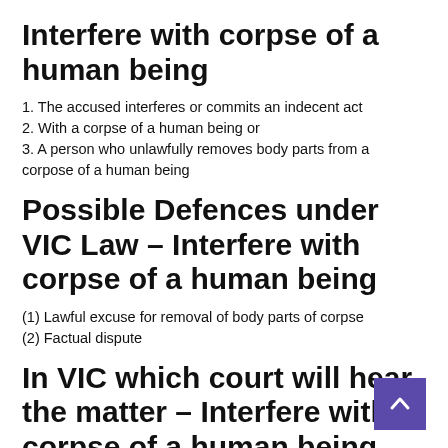Interfere with corpse of a human being
1. The accused interferes or commits an indecent act
2. With a corpse of a human being or
3. A person who unlawfully removes body parts from a corpose of a human being
Possible Defences under VIC Law – Interfere with corpse of a human being
(1) Lawful excuse for removal of body parts of corpse
(2) Factual dispute
In VIC which court will hear the matter – Interfere with corpse of a human being